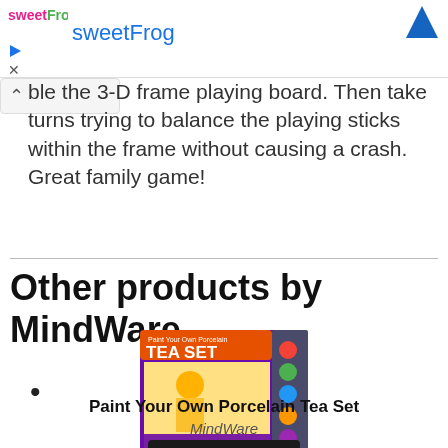[Figure (other): sweetFrog advertisement banner with logo, title 'sweetFrog', play/close icons and ad controls]
ble the 3-D frame playing board. Then take turns trying to balance the playing sticks within the frame without causing a crash. Great family game!
Other products by MindWare
[Figure (photo): Paint Your Own Porcelain Tea Set product box image]
Paint Your Own Porcelain Tea Set
MindWare
[Figure (photo): Second MindWare product partially visible at bottom]